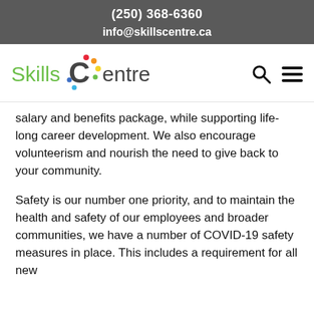(250) 368-6360
info@skillscentre.ca
[Figure (logo): Skills Centre logo with colorful circular icon made of dots in red, blue, green, yellow colors forming a ring, with green sans-serif text reading 'Skills Centre']
salary and benefits package, while supporting life-long career development. We also encourage volunteerism and nourish the need to give back to your community.
Safety is our number one priority, and to maintain the health and safety of our employees and broader communities, we have a number of COVID-19 safety measures in place. This includes a requirement for all new